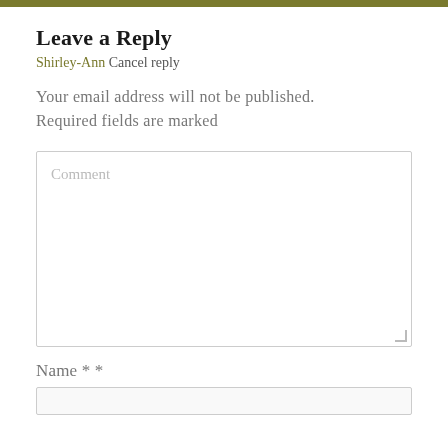Leave a Reply
Shirley-Ann Cancel reply
Your email address will not be published. Required fields are marked
[Figure (screenshot): Comment textarea input field with placeholder text 'Comment']
Name * *
[Figure (screenshot): Name text input field, empty]